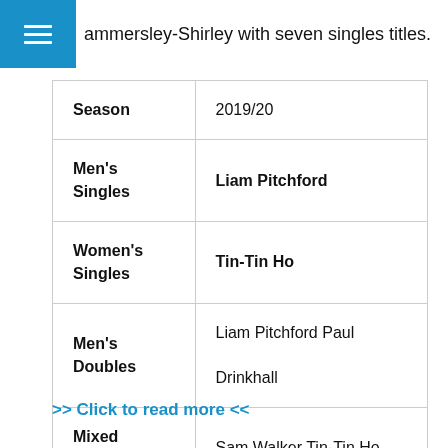ammersley-Shirley with seven singles titles.
| Season | 2019/20 |
| --- | --- |
| Men's Singles | Liam Pitchford |
| Women's Singles | Tin-Tin Ho |
| Men's Doubles | Liam Pitchford Paul Drinkhall |
| Mixed Doubles | Sam Walker Tin-Tin Ho |
>> Click to read more <<